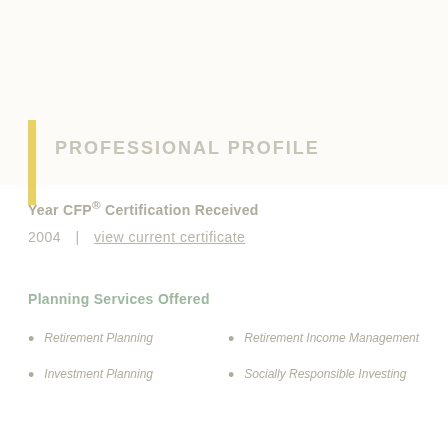PROFESSIONAL PROFILE
Year CFP® Certification Received
2004   |   view current certificate
Planning Services Offered
Retirement Planning
Investment Planning
Retirement Income Management
Socially Responsible Investing